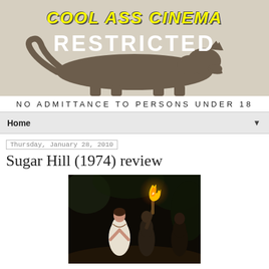[Figure (photo): Cool Ass Cinema blog header banner showing a panther silhouette with yellow 'COOL ASS CINEMA' text and white 'RESTRICTED' text on a tan background. Below: 'NO ADMITTANCE TO PERSONS UNDER 18']
Home ▼
Thursday, January 28, 2010
Sugar Hill (1974) review
[Figure (photo): Dark scene from the 1974 film Sugar Hill showing a woman in a white dress and a figure holding a flaming torch in a jungle setting]